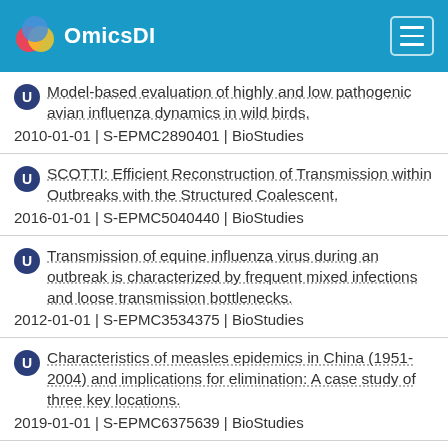OmicsDI
Model-based evaluation of highly and low pathogenic avian influenza dynamics in wild birds.
2010-01-01 | S-EPMC2890401 | BioStudies
SCOTTI: Efficient Reconstruction of Transmission within Outbreaks with the Structured Coalescent.
2016-01-01 | S-EPMC5040440 | BioStudies
Transmission of equine influenza virus during an outbreak is characterized by frequent mixed infections and loose transmission bottlenecks.
2012-01-01 | S-EPMC3534375 | BioStudies
Characteristics of measles epidemics in China (1951-2004) and implications for elimination: A case study of three key locations.
2019-01-01 | S-EPMC6375639 | BioStudies